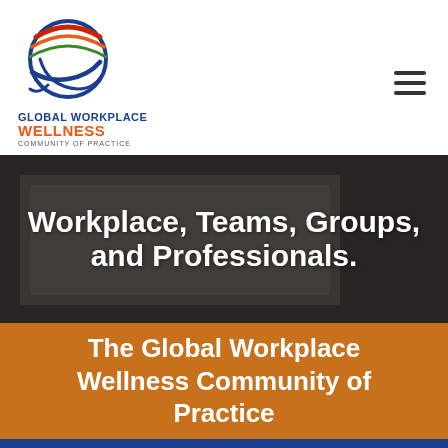[Figure (logo): Global Workplace Wellness Community of Practice logo with globe/circle graphic in blue, red, green, and orange with text below]
[Figure (photo): Background photo of financial spreadsheet/report documents on a dark desk, used as hero image background]
Workplace, Teams, Groups, and Professionals.
The Global Workplace Wellness Community of Practice